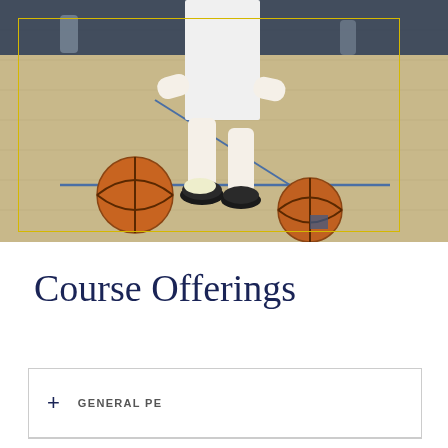[Figure (photo): A basketball player dribbling two basketballs on a gymnasium court. The player is wearing white shorts, a white jersey, and black sneakers. The gym floor is light wood with blue court markings. There is a yellow rectangular border overlay on the photo.]
Course Offerings
+ GENERAL PE